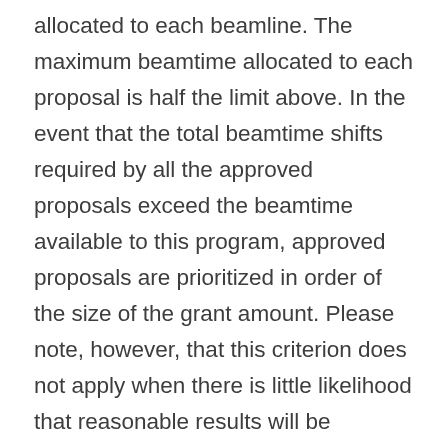allocated to each beamline. The maximum beamtime allocated to each proposal is half the limit above. In the event that the total beamtime shifts required by all the approved proposals exceed the beamtime available to this program, approved proposals are prioritized in order of the size of the grant amount. Please note, however, that this criterion does not apply when there is little likelihood that reasonable results will be delivered in contrast with the amount of allocated beamtime; the Proposal Review Committee